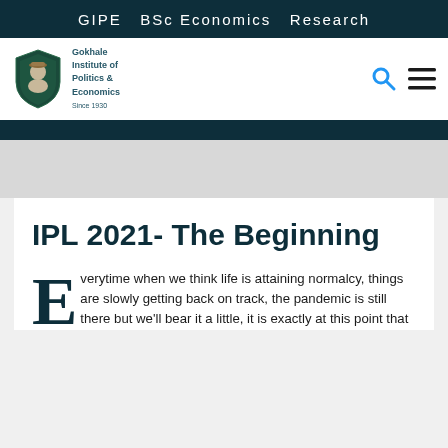GIPE  BSc Economics  Research
[Figure (logo): Gokhale Institute of Politics & Economics shield logo with portrait]
IPL 2021- The Beginning
Everytime when we think life is attaining normalcy, things are slowly getting back on track, the pandemic is still there but we'll bear it a little, it is exactly at this point that